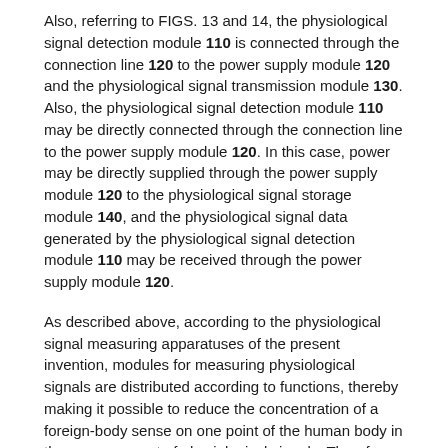Also, referring to FIGS. 13 and 14, the physiological signal detection module 110 is connected through the connection line 120 to the power supply module 120 and the physiological signal transmission module 130. Also, the physiological signal detection module 110 may be directly connected through the connection line to the power supply module 120. In this case, power may be directly supplied through the power supply module 120 to the physiological signal storage module 140, and the physiological signal data generated by the physiological signal detection module 110 may be received through the power supply module 120.
As described above, according to the physiological signal measuring apparatuses of the present invention, modules for measuring physiological signals are distributed according to functions, thereby making it possible to reduce the concentration of a foreign-body sense on one point of the human body in the measurement of physiological signals. Therefore, the physiological signal measuring apparatus can be prevented from separating from the human body in the measurement of physiological signals, and the long-time measurement of physiological signals is easy to implement.
Also, since the modules are distributed according to functions, a memory for storing physiological signals in the measurement of physiological signals can be added or replaced and a battery can be replaced easily.
Also, since the modules of the physiological signal measuring apparatus